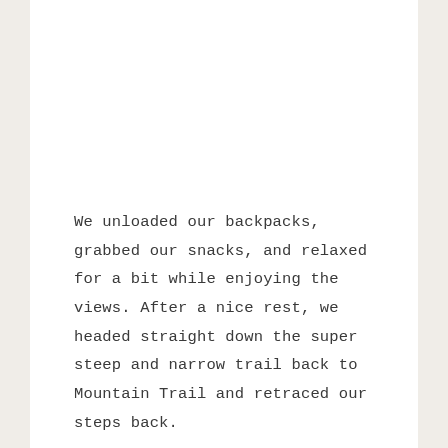We unloaded our backpacks, grabbed our snacks, and relaxed for a bit while enjoying the views. After a nice rest, we headed straight down the super steep and narrow trail back to Mountain Trail and retraced our steps back.